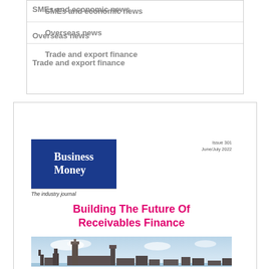SMEs and economic news
Overseas news
Trade and export finance
Latest edition
[Figure (illustration): Cover of Business Money magazine, Issue 301, June/July 2022, titled 'Building The Future Of Receivables Finance', featuring an image of the Houses of Parliament, London.]